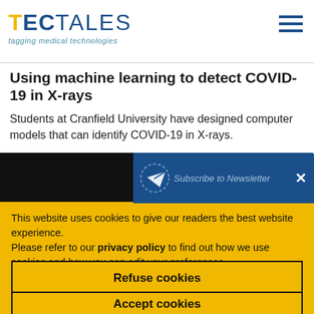TEC TALES - tagging medical technologies
Using machine learning to detect COVID-19 in X-rays
Students at Cranfield University have designed computer models that can identify COVID-19 in X-rays.
[Figure (screenshot): Partially visible newsletter subscription popup with dark blue background, paper plane icon, and close X button. Shows text 'Subscribe to Newsletter'.]
This website uses cookies to give our readers the best website experience.
Please refer to our privacy policy to find out how we use cookies and how you can edit your preferences.
Refuse cookies
Accept cookies